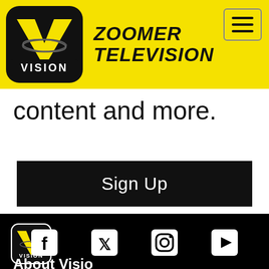[Figure (logo): Zoomer Television / Vision TV logo in header: black rounded square with yellow V shape and VISION text, plus ZOOMER TELEVISION bold italic text]
content and more.
Sign Up
[Figure (logo): Vision TV logo in footer: white rounded square outline with yellow V shape and VISION text on black background]
[Figure (infographic): Social media icons row on black background: Facebook, Twitter, Instagram, YouTube]
About Vision